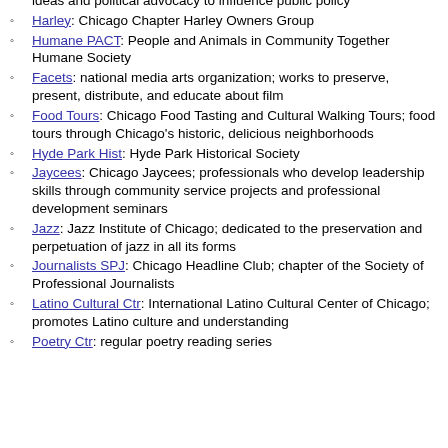ideas and political advocacy to influence public policy
Harley: Chicago Chapter Harley Owners Group
Humane PACT: People and Animals in Community Together Humane Society
Facets: national media arts organization; works to preserve, present, distribute, and educate about film
Food Tours: Chicago Food Tasting and Cultural Walking Tours; food tours through Chicago's historic, delicious neighborhoods
Hyde Park Hist: Hyde Park Historical Society
Jaycees: Chicago Jaycees; professionals who develop leadership skills through community service projects and professional development seminars
Jazz: Jazz Institute of Chicago; dedicated to the preservation and perpetuation of jazz in all its forms
Journalists SPJ: Chicago Headline Club; chapter of the Society of Professional Journalists
Latino Cultural Ctr: International Latino Cultural Center of Chicago; promotes Latino culture and understanding
Poetry Ctr: regular poetry reading series